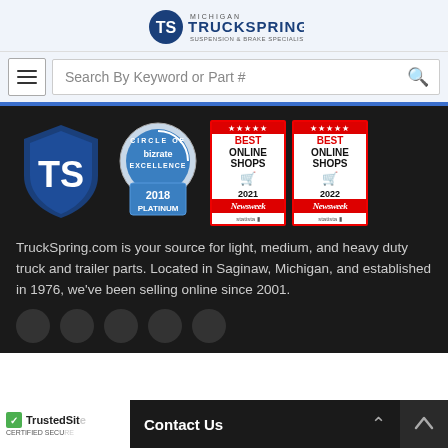[Figure (logo): Michigan TruckSpring Suspension & Brake Specialist logo with TS shield icon]
Search By Keyword or Part #
[Figure (logo): TS blue shield logo]
[Figure (logo): Bizrate Circle of Excellence 2018 Platinum badge]
[Figure (logo): Newsweek Best Online Shops 2021 badge by Statista]
[Figure (logo): Newsweek Best Online Shops 2022 badge by Statista]
TruckSpring.com is your source for light, medium, and heavy duty truck and trailer parts. Located in Saginaw, Michigan, and established in 1976, we've been selling online since 2001.
[Figure (logo): TrustedSite Certified Secure badge]
Contact Us